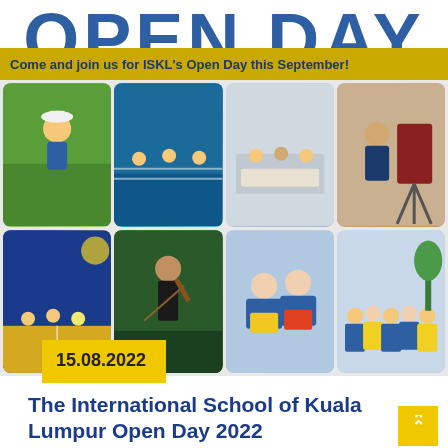OPEN DAY
Come and join us for ISKL's Open Day this September!
[Figure (photo): Grid of 8 school photos showing students doing various activities: outdoor learning, swimming, art class, photography, volleyball, violin playing, reading, and group photo of young students in blue uniforms.]
15.08.2022
The International School of Kuala Lumpur Open Day 2022